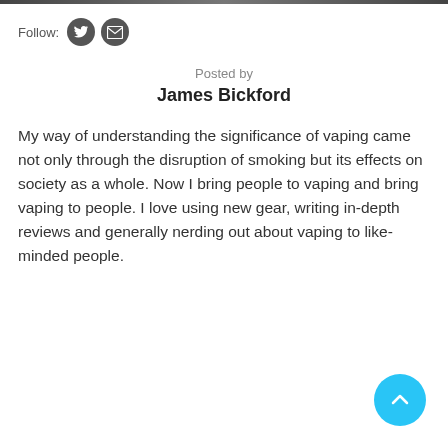[Figure (other): Thin dark banner image at top of page]
Follow:
[Figure (other): Twitter icon circle button]
[Figure (other): Email/envelope icon circle button]
Posted by
James Bickford
My way of understanding the significance of vaping came not only through the disruption of smoking but its effects on society as a whole. Now I bring people to vaping and bring vaping to people. I love using new gear, writing in-depth reviews and generally nerding out about vaping to like-minded people.
[Figure (other): Blue circular back-to-top arrow button in bottom right corner]